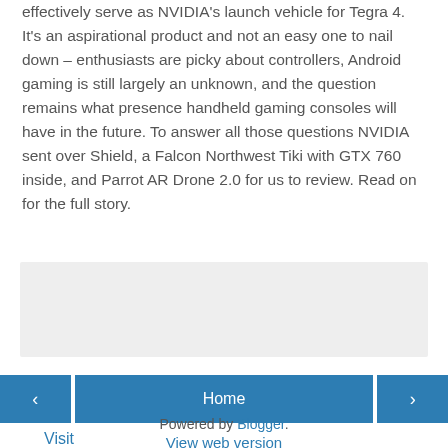effectively serve as NVIDIA's launch vehicle for Tegra 4. It's an aspirational product and not an easy one to nail down – enthusiasts are picky about controllers, Android gaming is still largely an unknown, and the question remains what presence handheld gaming consoles will have in the future. To answer all those questions NVIDIA sent over Shield, a Falcon Northwest Tiki with GTX 760 inside, and Parrot AR Drone 2.0 for us to review. Read on for the full story.
Visit website
[Figure (other): Gray placeholder/advertisement box]
‹  Home  ›
View web version
Powered by Blogger.